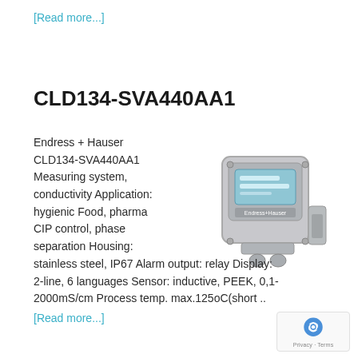[Read more...]
CLD134-SVA440AA1
Endress + Hauser CLD134-SVA440AA1 Measuring system, conductivity Application: hygienic Food, pharma CIP control, phase separation Housing: stainless steel, IP67 Alarm output: relay Display: 2-line, 6 languages Sensor: inductive, PEEK, 0,1-2000mS/cm Process temp. max.125oC(short ..
[Figure (photo): Endress+Hauser CLD134-SVA440AA1 conductivity measuring transmitter in stainless steel housing with LCD display]
[Read more...]